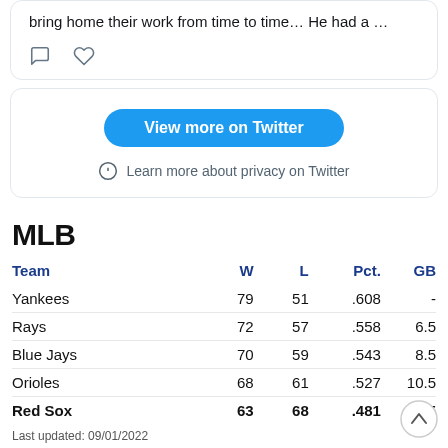[Figure (screenshot): Partial Twitter embed card showing tweet text 'bring home their work from time to time… He had a …' with comment and like icons, then a 'View more on Twitter' button and 'Learn more about privacy on Twitter' link]
MLB
| Team | W | L | Pct. | GB |
| --- | --- | --- | --- | --- |
| Yankees | 79 | 51 | .608 | - |
| Rays | 72 | 57 | .558 | 6.5 |
| Blue Jays | 70 | 59 | .543 | 8.5 |
| Orioles | 68 | 61 | .527 | 10.5 |
| Red Sox | 63 | 68 | .481 | 16.5 |
Last updated: 09/01/2022